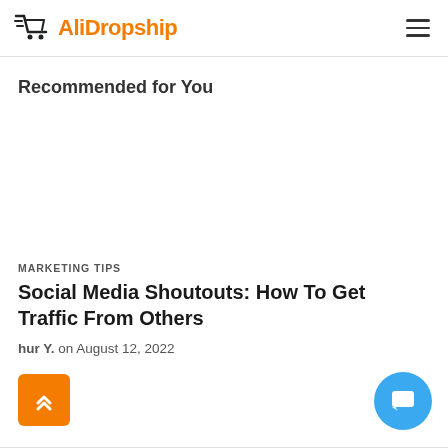AliDropship
Recommended for You
MARKETING TIPS
Social Media Shoutouts: How To Get Traffic From Others
hur Y. on August 12, 2022